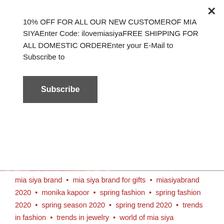10% OFF FOR ALL OUR NEW CUSTOMEROF MIA SIYAEnter Code: ilovemiasiyaFREE SHIPPING FOR ALL DOMESTIC ORDEREnter your E-Mail to Subscribe to
Subscribe
mia siya brand · mia siya brand for gifts · miasiyabrand 2020 · monika kapoor · spring fashion · spring fashion 2020 · spring season 2020 · spring trend 2020 · trends in fashion · trends in jewelry · world of mia siya
[Figure (photo): Left: person wearing red gingham/checkered top with black pants. Right: gold woven/braided handbag with chain strap against grey background.]